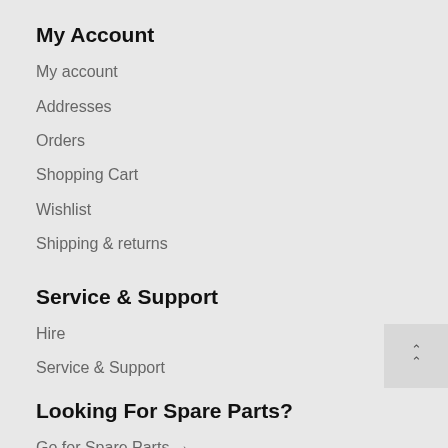My Account
My account
Addresses
Orders
Shopping Cart
Wishlist
Shipping & returns
Service & Support
Hire
Service & Support
Looking For Spare Parts?
Go for Spare Parts →
Get To Know Us